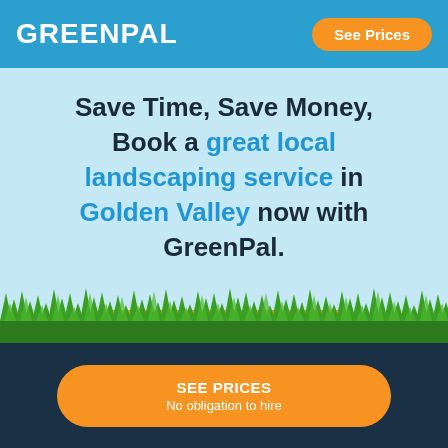GREENPAL | See Prices
Save Time, Save Money, Book a great local landscaping service in Golden Valley now with GreenPal.
[Figure (illustration): Orange rounded button with white text 'See Prices >' on light blue sky background]
[Figure (illustration): Illustrated green grass silhouette along bottom of sky area]
SEE PRICES
No obligation to hire